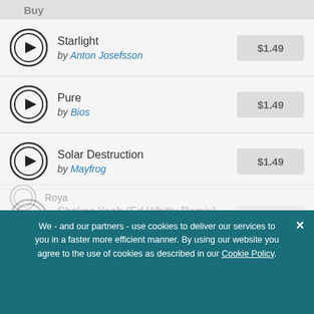Buy
Starlight by Anton Josefsson $1.49
Pure by Bios $1.49
Solar Destruction by Mayfrog $1.49
Shakes Yeah (Ed Whitty Remix) by Nopopstar $1.49
Complete by Paul Mendez $1.49
We - and our partners - use cookies to deliver our services to you in a faster more efficient manner. By using our website you agree to the use of cookies as described in our Cookie Policy.